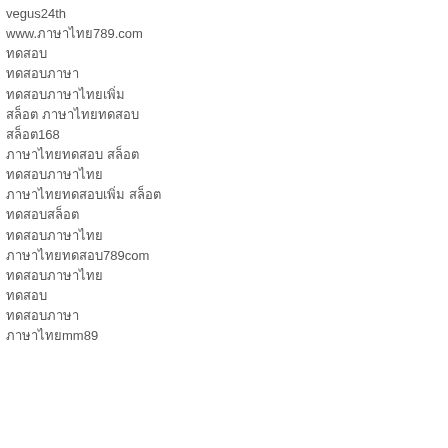vegus24th
www.ภาษาไทย789.com
ทดสอบ
ทดสอบภาษา
ทดสอบภาษาไทยเพิ่ม
สล็อต ภาษาไทยทดสอบ
สล็อต168
ภาษาไทยทดสอบ สล็อต
ทดสอบภาษาไทย
ภาษาไทยทดสอบเพิ่ม สล็อต
ทดสอบสล็อต
ทดสอบภาษาไทย
ภาษาไทยทดสอบ789com
ทดสอบภาษาไทย
ทดสอบ
ทดสอบภาษา
ภาษาไทยmm89